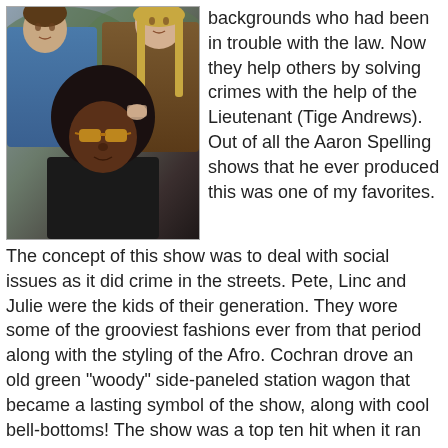[Figure (photo): Black and white/color photo of three people: a man in a blue shirt at the top left, a woman with long blonde hair at the top right, and a man with a large afro and sunglasses in the foreground center.]
backgrounds who had been in trouble with the law. Now they help others by solving crimes with the help of the Lieutenant (Tige Andrews). Out of all the Aaron Spelling shows that he ever produced this was one of my favorites. The concept of this show was to deal with social issues as it did crime in the streets. Pete, Linc and Julie were the kids of their generation. They wore some of the grooviest fashions ever from that period along with the styling of the Afro. Cochran drove an old green "woody" side-paneled station wagon that became a lasting symbol of the show, along with cool bell-bottoms! The show was a top ten hit when it ran on ABC from 1968-1973. The executive producers were Danny Thomas (of Make Room for Daddy fame),and Sheldon Leonard (who was also producing I Spy and Andy Griffith at the time). Cast: Michael Cole,Peggy Lipton, Clarence Williams III,